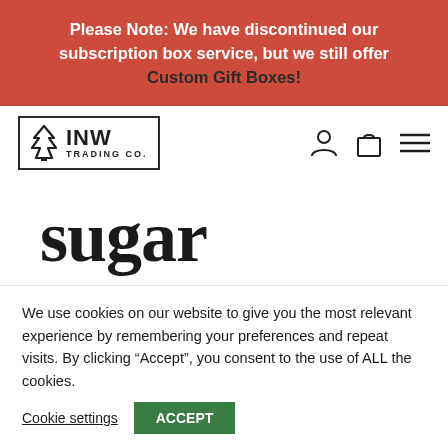Please Note: We have discontinued our subscription box service, but we still offer Custom Gift Boxes!
[Figure (logo): INW Trading Co. logo with pine tree icon inside a rectangular border]
sugar scrub
We use cookies on our website to give you the most relevant experience by remembering your preferences and repeat visits. By clicking “Accept”, you consent to the use of ALL the cookies.